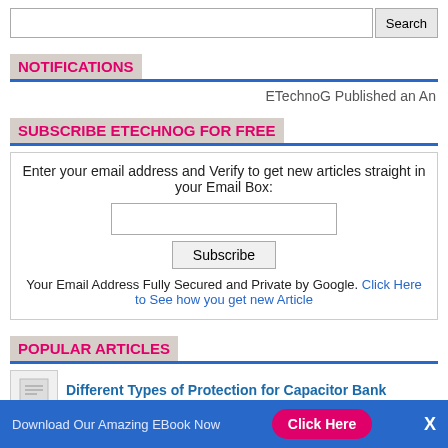Search
NOTIFICATIONS
ETechnoG Published an An
SUBSCRIBE ETECHNOG FOR FREE
Enter your email address and Verify to get new articles straight in your Email Box:
Your Email Address Fully Secured and Private by Google. Click Here to See how you get new Article
POPULAR ARTICLES
Different Types of Protection for Capacitor Bank
Download Our Amazing EBook Now  Click Here  X